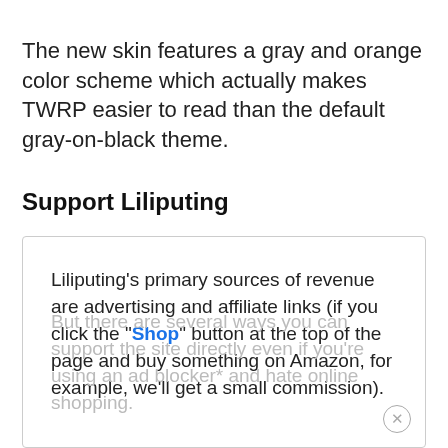The new skin features a gray and orange color scheme which actually makes TWRP easier to read than the default gray-on-black theme.
Support Liliputing
Liliputing's primary sources of revenue are advertising and affiliate links (if you click the "Shop" button at the top of the page and buy something on Amazon, for example, we'll get a small commission).
But there are several ways you can support the site directly even if you're using an ad blocker* and hate online shopping.